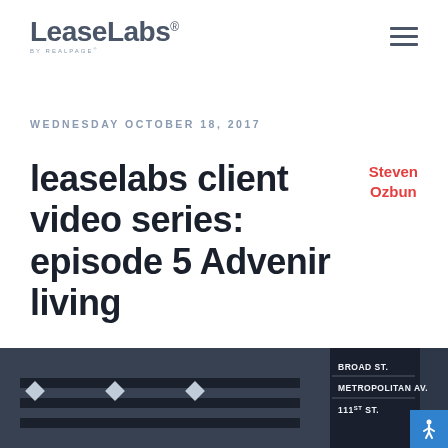LeaseLabs by RealPage
WEDNESDAY OCTOBER 18, 2017
leaselabs client video series: episode 5 Advenir living
Steven Ozbun
[Figure (photo): Street sign photo showing Broad St, Metropolitan Av, 111th St intersection signs on a dark background]